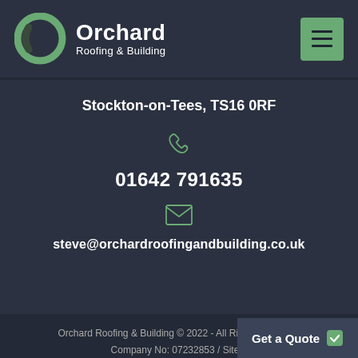[Figure (logo): Orchard Roofing & Building logo — circular green ring icon with Orchard in bold white and Roofing & Building subtitle]
Stockton-on-Tees, TS16 0RF
[Figure (illustration): Phone handset icon in green outline style]
01642 791635
[Figure (illustration): Email envelope icon in green outline style]
steve@orchardroofingandbuilding.co.uk
Orchard Roofing & Building © 2022 - All Rights Reserved
Company No: 07232853 / Site b
Get a Quote